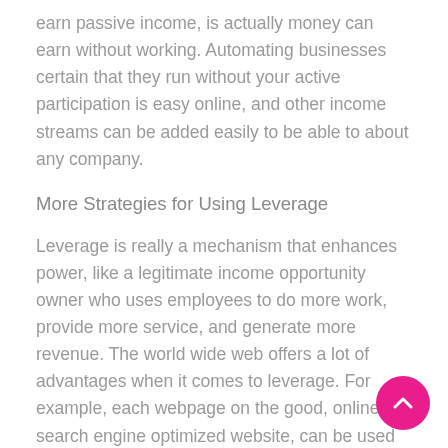earn passive income, is actually money can earn without working. Automating businesses certain that they run without your active participation is easy online, and other income streams can be added easily to be able to about any company.
More Strategies for Using Leverage
Leverage is really a mechanism that enhances power, like a legitimate income opportunity owner who uses employees to do more work, provide more service, and generate more revenue. The world wide web offers a lot of advantages when it comes to leverage. For example, each webpage on the good, online search engine optimized website, can be used over and over again to get in free traffic. Building plenty of pages is using a involving